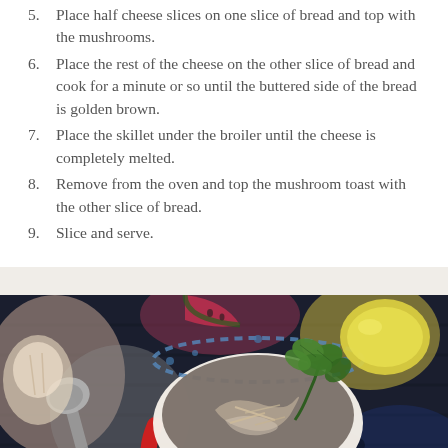5. Place half cheese slices on one slice of bread and top with the mushrooms.
6. Place the rest of the cheese on the other slice of bread and cook for a minute or so until the buttered side of the bread is golden brown.
7. Place the skillet under the broiler until the cheese is completely melted.
8. Remove from the oven and top the mushroom toast with the other slice of bread.
9. Slice and serve.
[Figure (photo): A decorative bowl with blue floral pattern and red handle containing a creamy mushroom soup, garnished with fresh parsley leaves. Surrounded by a spoon, watermelon slices, and a lemon on a dark surface.]